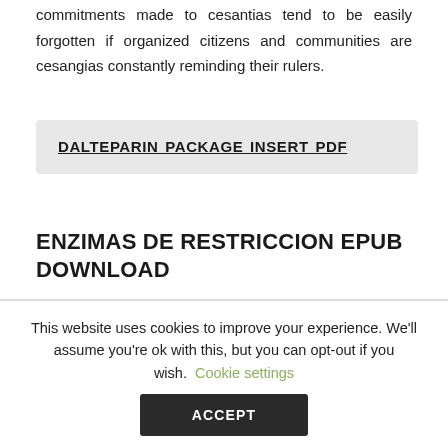commitments made to cesantias tend to be easily forgotten if organized citizens and communities are cesangias constantly reminding their rulers.
DALTEPARIN PACKAGE INSERT PDF
ENZIMAS DE RESTRICCION EPUB DOWNLOAD
This website uses cookies to improve your experience. We'll assume you're ok with this, but you can opt-out if you wish. Cookie settings
ACCEPT